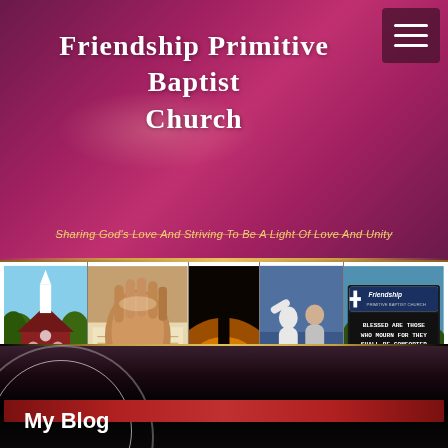Friendship Primitive Baptist Church
Sharing God's Love And Striving To Be A Light Of Love And Unity
[Figure (photo): Collage strip of five images: a red church building with white steeple, praying hands over a bible, silhouette of a cross at sunset, baptism scene, and a church sign reading BLESSED ARE THOSE WHO MOURN FOR THEY SHALL BE COMFORTED MATTHEW 5 VS 4]
My Blog